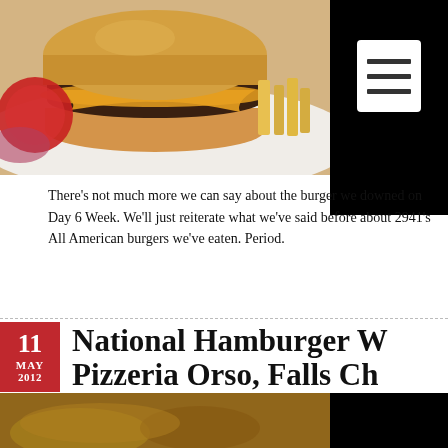[Figure (photo): Close-up photo of a cheeseburger with melted orange cheese, a sesame bun, tomato slices, red onion, on a white plate with fries, alongside a black sidebar with a white menu icon]
There's not much more we can say about the burger we downed on Day 6 Week. We'll just reiterate what we've said before about 2941's All American burgers we've eaten. Period.
National Hamburger W Pizzeria Orso, Falls Ch
By Jody in burgers, Virginia Burgs with 0 Comments  Tags: burger week, fa week, pizza, pizzeria orso
[Figure (photo): Bottom strip photo of food items including burgers, with a black sidebar area on the right]